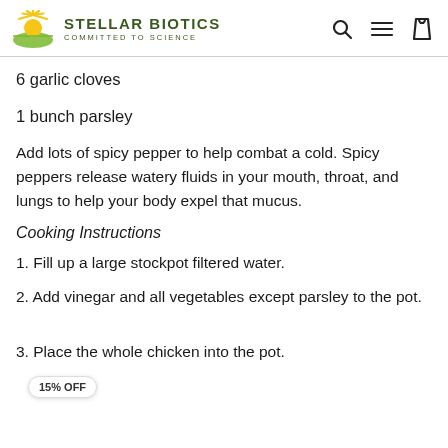STELLAR BIOTICS COMMITTED TO SCIENCE
6 garlic cloves
1 bunch parsley
Add lots of spicy pepper to help combat a cold. Spicy peppers release watery fluids in your mouth, throat, and lungs to help your body expel that mucus.
Cooking Instructions
1. Fill up a large stockpot filtered water.
2. Add vinegar and all vegetables except parsley to the pot.
3. Place the whole chicken into the pot.